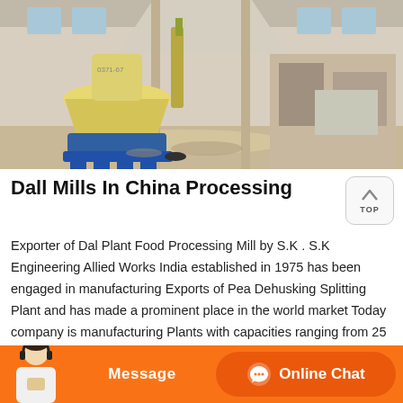[Figure (photo): Industrial dall/dal mill machinery inside a factory building - a large yellow cone-shaped grinding machine on blue base, with dust/powder visible throughout the facility interior.]
Dall Mills In China Processing
Exporter of Dal Plant Food Processing Mill by S.K . S.K Engineering Allied Works India established in 1975 has been engaged in manufacturing Exports of Pea Dehusking Splitting Plant and has made a prominent place in the world market Today company is manufacturing Plants with capacities ranging from 25 to 250 tonnes per day and these units have been exported around the Globe.